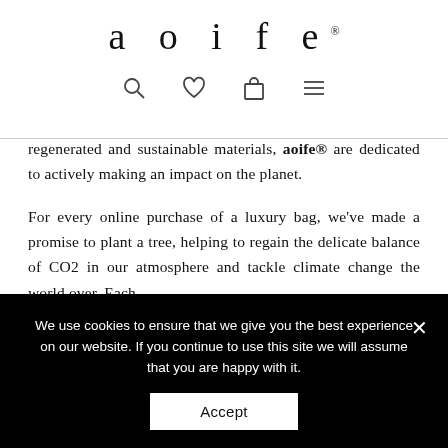[Figure (logo): aoife® brand logo in thin serif lowercase letters with registered trademark symbol]
[Figure (other): Navigation icon bar with search, heart/wishlist, shopping bag, and hamburger menu icons]
regenerated and sustainable materials, aoife® are dedicated to actively making an impact on the planet.
For every online purchase of a luxury bag, we've made a promise to plant a tree, helping to regain the delicate balance of CO2 in our atmosphere and tackle climate change the world over. Each
We use cookies to ensure that we give you the best experience on our website. If you continue to use this site we will assume that you are happy with it.